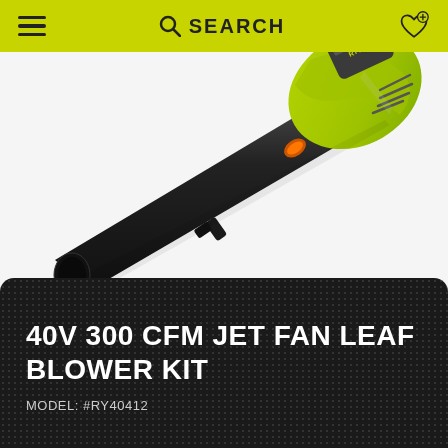SEARCH
[Figure (photo): RYOBI 40V 300 CFM Jet Fan Leaf Blower with yellow-green body and black nozzle tube, shown diagonally on white background]
40V 300 CFM JET FAN LEAF BLOWER KIT
MODEL: #RY40412